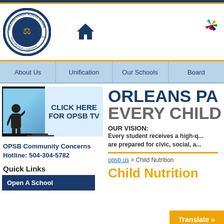[Figure (logo): Orleans Parish School Board circular seal logo in blue and gold]
[Figure (screenshot): Website navigation bar with About Us, Unification, Our Schools, Board items]
[Figure (screenshot): OPSB TV banner with TV graphic and student figure, text CLICK HERE FOR OPSB TV]
ORLEANS PA EVERY CHILD
OUR VISION:
Every student receives a high-q... are prepared for civic, social, a...
OPSB Community Concerns Hotline: 504-304-5782
Quick Links
Open A School
opsb.us > Child Nutrition
Child Nutrition
Translate »